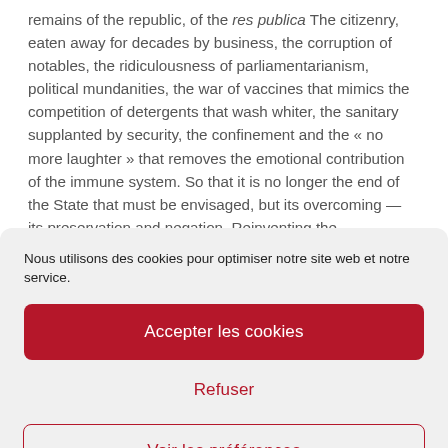remains of the republic, of the res publica The citizenry, eaten away for decades by business, the corruption of notables, the ridiculousness of parliamentarianism, political mundanities, the war of vaccines that mimics the competition of detergents that wash whiter, the sanitary supplanted by security, the confinement and the « no more laughter » that removes the emotional contribution of the immune system. So that it is no longer the end of the State that must be envisaged, but its overcoming — its preservation and negation. Reinventing the
Nous utilisons des cookies pour optimiser notre site web et notre service.
Accepter les cookies
Refuser
Voir les préférences